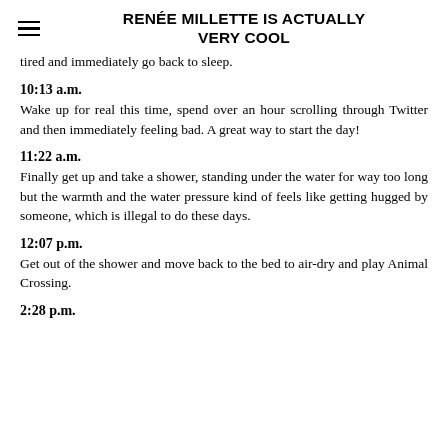RENÉE MILLETTE IS ACTUALLY VERY COOL
tired and immediately go back to sleep.
10:13 a.m.
Wake up for real this time, spend over an hour scrolling through Twitter and then immediately feeling bad. A great way to start the day!
11:22 a.m.
Finally get up and take a shower, standing under the water for way too long but the warmth and the water pressure kind of feels like getting hugged by someone, which is illegal to do these days.
12:07 p.m.
Get out of the shower and move back to the bed to air-dry and play Animal Crossing.
2:28 p.m.